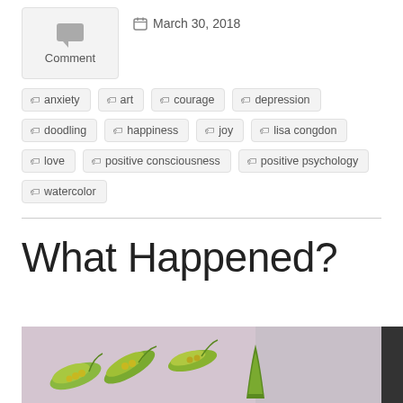Comment
March 30, 2018
anxiety
art
courage
depression
doodling
happiness
joy
lisa congdon
love
positive consciousness
positive psychology
watercolor
What Happened?
[Figure (photo): Watercolor illustration of green plant pods/peas on a purple/lavender background]